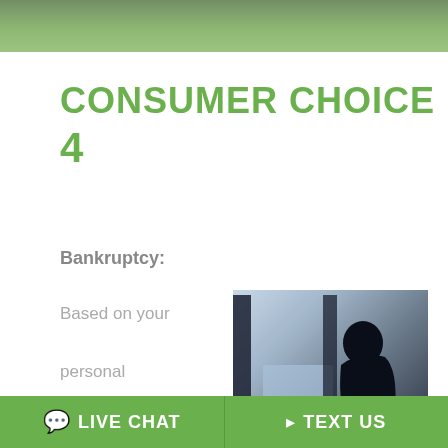[Figure (illustration): Green gradient banner header at top of page]
CONSUMER CHOICE 4
Bankruptcy:
Based on your personal circumstance, bankruptcy can
[Figure (photo): Silhouette of a person hunched over a laptop in distress, dark blue-grey tones]
LIVE CHAT   TEXT US